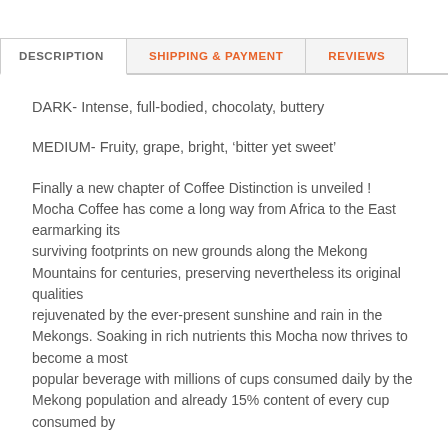DESCRIPTION
SHIPPING & PAYMENT
REVIEWS
DARK- Intense, full-bodied, chocolaty, buttery
MEDIUM- Fruity, grape, bright, ‘bitter yet sweet’
Finally a new chapter of Coffee Distinction is unveiled ! Mocha Coffee has come a long way from Africa to the East earmarking its surviving footprints on new grounds along the Mekong Mountains for centuries, preserving nevertheless its original qualities rejuvenated by the ever-present sunshine and rain in the Mekongs. Soaking in rich nutrients this Mocha now thrives to become a most popular beverage with millions of cups consumed daily by the Mekong population and already 15% content of every cup consumed by